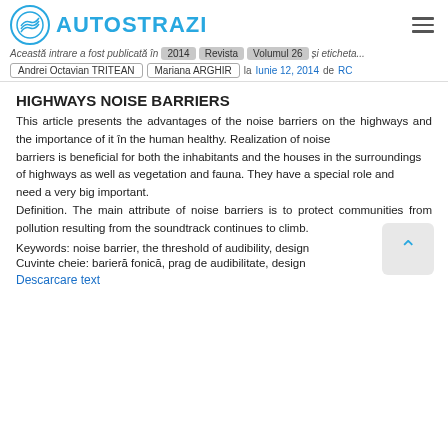AUTOSTRAZI
Această intrare a fost publicată în 2014 Revista Volumul 26 și etichetată Andrei Octavian TRITEAN Mariana ARGHIR la Iunie 12, 2014 de RC
HIGHWAYS NOISE BARRIERS
This article presents the advantages of the noise barriers on the highways and the importance of it în the human healthy. Realization of noise barriers is beneficial for both the inhabitants and the houses in the surroundings of highways as well as vegetation and fauna. They have a special role and need a very big important.
Definition. The main attribute of noise barriers is to protect communities from pollution resulting from the soundtrack continues to climb.
Keywords: noise barrier, the threshold of audibility, design
Cuvinte cheie: barieră fonică, prag de audibilitate, design
Descarcare text